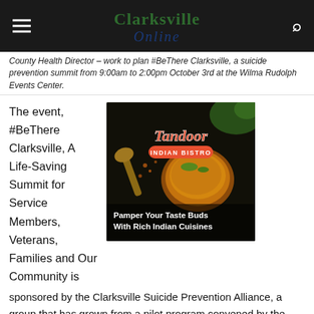Clarksville Online
County Health Director – work to plan #BeThere Clarksville, a suicide prevention summit from 9:00am to 2:00pm October 3rd at the Wilma Rudolph Events Center.
The event, #BeThere Clarksville, A Life-Saving Summit for Service Members, Veterans, Families and Our Community is
[Figure (photo): Tandoor Indian Bistro advertisement showing Indian food with text 'Pamper Your Taste Buds With Rich Indian Cuisines']
sponsored by the Clarksville Suicide Prevention Alliance, a group that has grown from a pilot program convened by the